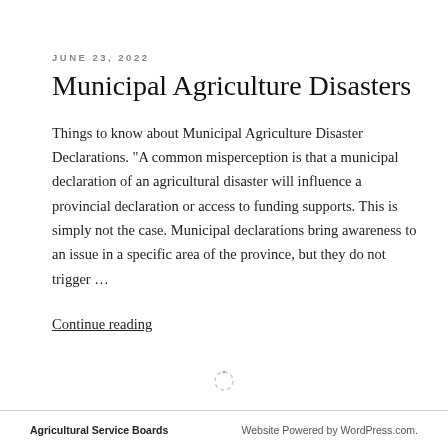JUNE 23, 2022
Municipal Agriculture Disasters
Things to know about Municipal Agriculture Disaster Declarations. "A common misperception is that a municipal declaration of an agricultural disaster will influence a provincial declaration or access to funding supports. This is simply not the case. Municipal declarations bring awareness to an issue in a specific area of the province, but they do not trigger …
Continue reading
Agricultural Service Boards | Website Powered by WordPress.com.